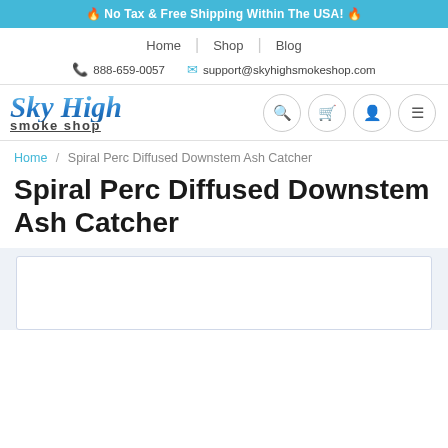🔥 No Tax & Free Shipping Within The USA! 🔥
Home | Shop | Blog
📞 888-659-0057  ✉ support@skyhighsmokeshop.com
[Figure (logo): Sky High Smoke Shop logo with stylized italic blue text and search, cart, user, menu icon buttons]
Home / Spiral Perc Diffused Downstem Ash Catcher
Spiral Perc Diffused Downstem Ash Catcher
[Figure (photo): Product image placeholder box with light blue-gray background]